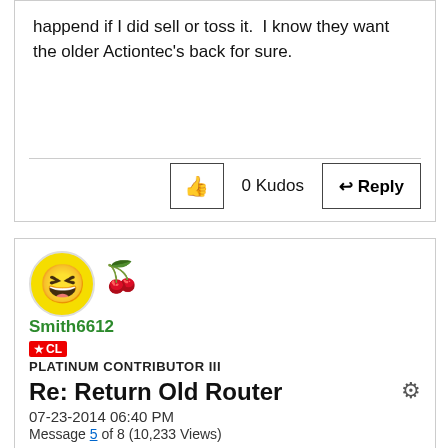happend if I did sell or toss it.  I know they want the older Actiontec's back for sure.
0 Kudos
Reply
[Figure (illustration): User avatar: yellow smiley face emoji with wide open mouth and crazy eyes]
[Figure (illustration): Flower/plant decoration icon]
Smith6612
★ CL
PLATINUM CONTRIBUTOR III
Re: Return Old Router
07-23-2014 06:40 PM
Message 5 of 8 (10,233 Views)
In the past, Verizon's old policy was if you had the router for more than a year or two, it was your router to keep